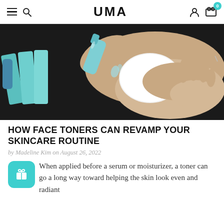UMA
[Figure (photo): Hands pouring toner from a small blue bottle onto a white cotton round pad, with teal/mint skincare product packets visible in the background on a dark surface.]
HOW FACE TONERS CAN REVAMP YOUR SKINCARE ROUTINE
by Madeline Kim on August 26, 2022
When applied before a serum or moisturizer, a toner can go a long way toward helping the skin look even and radiant